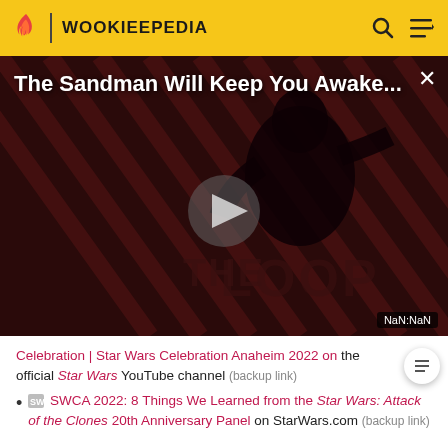WOOKIEEPEDIA
[Figure (screenshot): Video player showing 'The Sandman Will Keep You Awake...' with a dark figure and diagonal stripe background. THE LOOP text visible at bottom. NaN:NaN time display. Play button in center.]
Celebration | Star Wars Celebration Anaheim 2022 on the official Star Wars YouTube channel (backup link)
SW SWCA 2022: 8 Things We Learned from the Star Wars: Attack of the Clones 20th Anniversary Panel on StarWars.com (backup link)